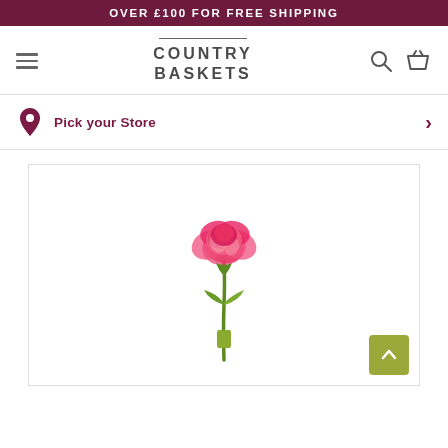OVER £100 FOR FREE SHIPPING
[Figure (logo): Country Baskets logo with horizontal line above, text COUNTRY BASKETS in bold grey letters]
Pick your Store
[Figure (photo): A single pink/red carnation flower on a green stem against a white background]